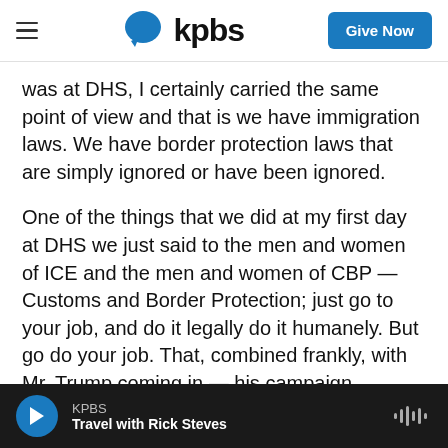kpbs | Give Now
was at DHS, I certainly carried the same point of view and that is we have immigration laws. We have border protection laws that are simply ignored or have been ignored.
One of the things that we did at my first day at DHS we just said to the men and women of ICE and the men and women of CBP — Customs and Border Protection; just go to your job, and do it legally do it humanely. But go do your job. That, combined frankly, with Mr. Trump coming in — his campaign promises and whatnot — the immigration fell off dramatically. Mostly because people are not willing
KPBS | Travel with Rick Steves